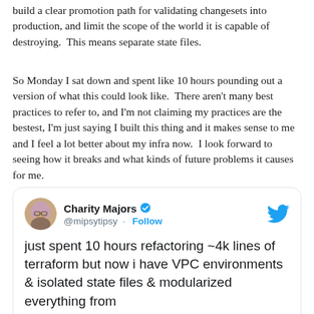build a clear promotion path for validating changesets into production, and limit the scope of the world it is capable of destroying.  This means separate state files.
So Monday I sat down and spent like 10 hours pounding out a version of what this could look like.  There aren't many best practices to refer to, and I'm not claiming my practices are the bestest, I'm just saying I built this thing and it makes sense to me and I feel a lot better about my infra now.  I look forward to seeing how it breaks and what kinds of future problems it causes for me.
[Figure (screenshot): Embedded tweet by Charity Majors (@mipsytipsy) with verified badge and Follow button, showing tweet text: 'just spent 10 hours refactoring ~4k lines of terraform but now i have VPC environments & isolated state files & modularized everything from', timestamp 6:25 AM · Mar 29, 2016, with Twitter bird logo and info icon.]